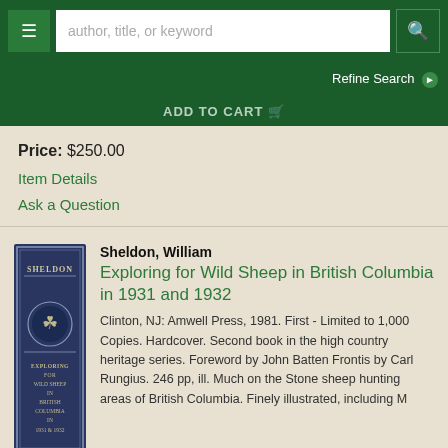author, title, or keyword [search bar] | Refine Search
ADD TO CART
Price: $250.00
Item Details
Ask a Question
Sheldon, William
Exploring for Wild Sheep in British Columbia in 1931 and 1932
Clinton, NJ: Amwell Press, 1981. First - Limited to 1,000 Copies. Hardcover. Second book in the high country heritage series. Foreword by John Batten Frontis by Carl Rungius. 246 pp, ill. Much on the Stone sheep hunting areas of British Columbia. Finely illustrated, including M
[Figure (photo): Book spine photo showing a dark blue book titled 'Exploring for Wild Sheep in British Columbia' by Sheldon, with decorative emblem]